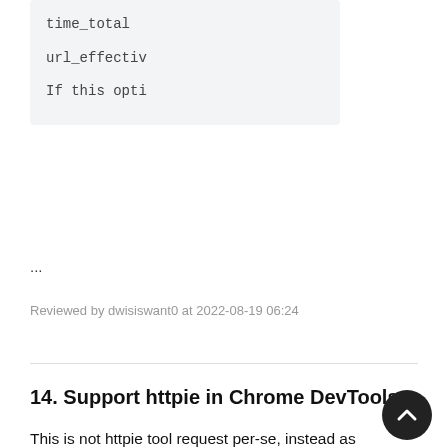[Figure (screenshot): Code block showing truncated monospace lines: time_total, url_effectiv, If this opti]
...
Reviewed by dwisiswant0 at 2022-08-19 06:24
14. Support httpie in Chrome DevTools
This is not httpie tool request per-se, instead as an avid user of the httpie tool, I find it frustrating that in the network tab of the Chrome DevTools, there's an option in the context